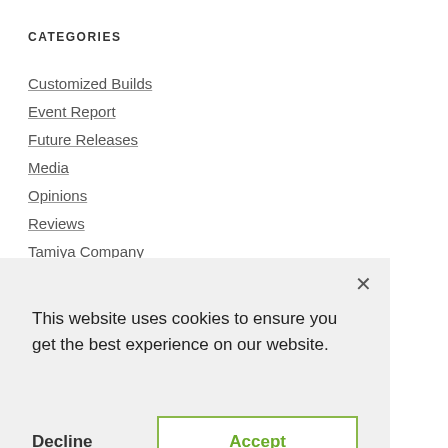CATEGORIES
Customized Builds
Event Report
Future Releases
Media
Opinions
Reviews
Tamiya Company
× This website uses cookies to ensure you get the best experience on our website. Decline Accept
June 2022